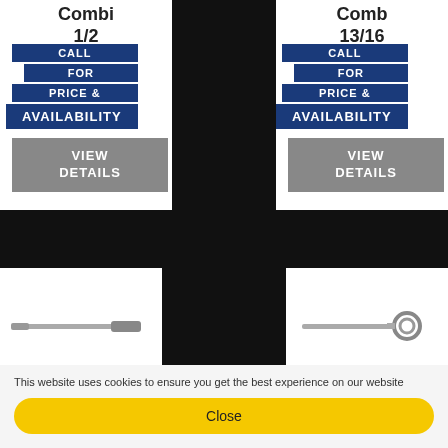Combi 1/2
CALL FOR PRICE & AVAILABILITY
VIEW DETAILS
Comb 13/16
CALL FOR PRICE & AVAILABILITY
VIEW DETAILS
[Figure (photo): A combination wrench / ratchet wrench tool - left product]
[Figure (photo): A combination ratchet wrench tool - right product]
This website uses cookies to ensure you get the best experience on our website
Close